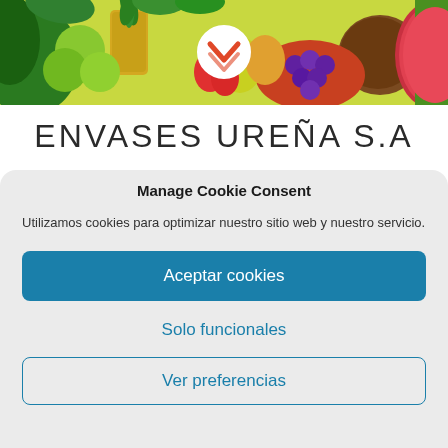[Figure (photo): Banner with assorted colorful tropical fruits including pineapple, limes, coconut, watermelon, grapes, pears, strawberries. A white circle with a red/orange checkmark chevron icon is overlaid in the center.]
ENVASES UREÑA S.A
Manage Cookie Consent
Utilizamos cookies para optimizar nuestro sitio web y nuestro servicio.
Aceptar cookies
Solo funcionales
Ver preferencias